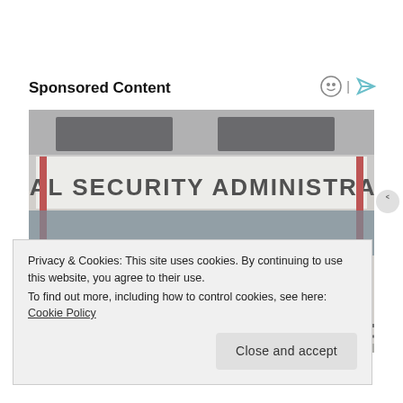Sponsored Content
[Figure (photo): Exterior of a Social Security Administration office building with large signage reading 'SOCIAL SECURITY ADMINISTRATION', showing entrance doors, windows, and a ramp with railings.]
Privacy & Cookies: This site uses cookies. By continuing to use this website, you agree to their use.
To find out more, including how to control cookies, see here: Cookie Policy
Close and accept